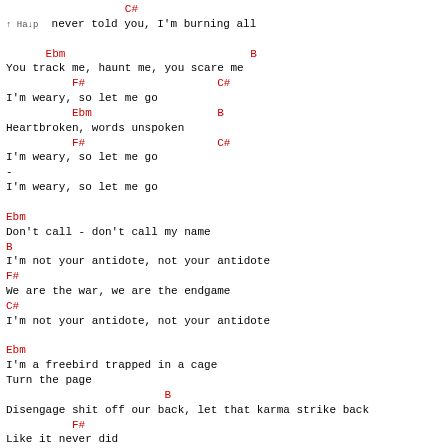C#
I never told you, I'm burning all

    Ebm                         B
You track me, haunt me, you scare me
        F#                  C#
I'm weary, so let me go
        Ebm                    B
Heartbroken, words unspoken
        F#                  C#
I'm weary, so let me go
-
I'm weary, so let me go

Ebm
Don't call - don't call my name
B
I'm not your antidote, not your antidote
F#
We are the war, we are the endgame
C#
I'm not your antidote, not your antidote

Ebm
I'm a freebird trapped in a cage
Turn the page
                        B
Disengage shit off our back, let that karma strike back
        F#
Like it never did
What did you expect